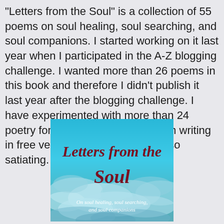"Letters from the Soul" is a collection of 55 poems on soul healing, soul searching, and soul companions. I started working on it last year when I participated in the A-Z blogging challenge. I wanted more than 26 poems in this book and therefore I didn't publish it last year after the blogging challenge. I have experimented with more than 24 poetry forms in the book apart from writing in free verse. That was creatively so satiating.
[Figure (illustration): Book cover of 'Letters from the Soul' with teal/blue cloudy sky background. Title in dark red italic cursive reads 'Letters from the Soul'. Subtitle in white italic reads 'On soul healing, soul searching, and soul companions'.]